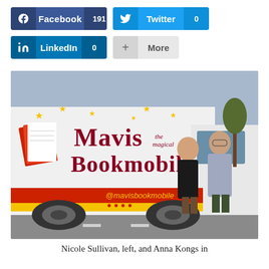[Figure (screenshot): Social share buttons: Facebook (191 shares), Twitter (0 shares), LinkedIn (0 shares), and More button]
[Figure (photo): Photo of two women standing in front of a white van with 'Mavis the Magical Bookmobile' branding, red and yellow stripe, @mavisbookmobile social handles]
Nicole Sullivan, left, and Anna Kongs in